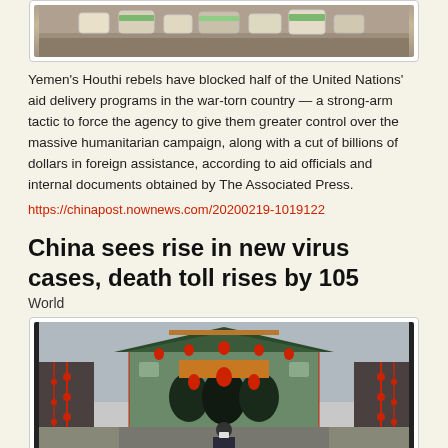[Figure (photo): Photo of aid supplies on the ground, bags and packages visible from above]
Yemen's Houthi rebels have blocked half of the United Nations' aid delivery programs in the war-torn country — a strong-arm tactic to force the agency to give them greater control over the massive humanitarian campaign, along with a cut of billions of dollars in foreign assistance, according to aid officials and internal documents obtained by The Associated Press.
https://chinapost.nownews.com/20200219-1019122
China sees rise in new virus cases, death toll rises by 105
World
[Figure (photo): Photo of a person wearing a mask walking through a Chinese street decorated with red lanterns and ornaments, with a traditional gate building in the background]